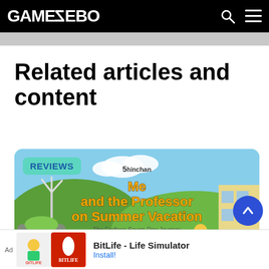GAMEZEBO
Related articles and content
[Figure (screenshot): Shin-chan: Me and the Professor on Summer Vacation - The Endless Seven-Day Journey game cover art showing animated characters and colorful scenery with a REVIEWS badge]
REVIEWS
Ad  BitLife - Life Simulator  Install!